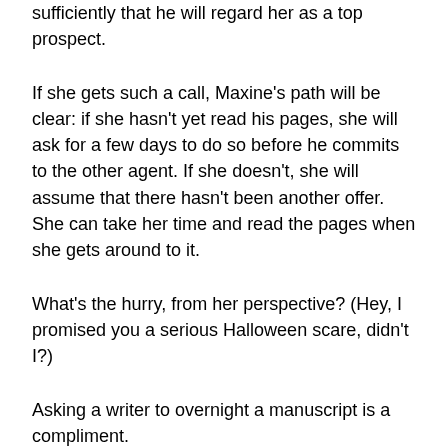sufficiently that he will regard her as a top prospect.
If she gets such a call, Maxine's path will be clear: if she hasn't yet read his pages, she will ask for a few days to do so before he commits to the other agent. If she doesn't, she will assume that there hasn't been another offer. She can take her time and read the pages when she gets around to it.
What's the hurry, from her perspective? (Hey, I promised you a serious Halloween scare, didn't I?)
Asking a writer to overnight a manuscript is a compliment.